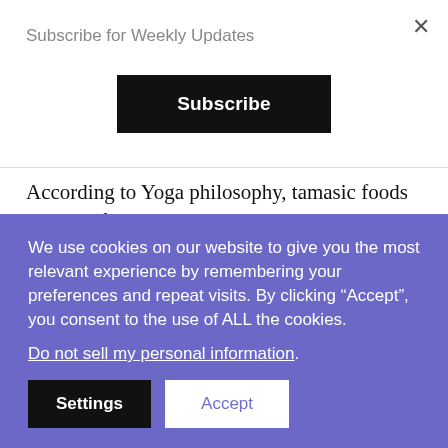Subscribe for Weekly Updates
[Figure (screenshot): Black Subscribe button]
According to Yoga philosophy, tamasic foods are harmful to both mind and body. However, sometimes they are necessary during times of great physical stress and pain. Such foods help dull the pain and lower consciousness, allowing the body to repair itself. Also, tamasic foods
We use cookies on our website to give you the most relevant experience by remembering your preferences and repeat visits. By clicking “Accept”, you consent to the use of ALL the cookies.
Do not sell my personal information.
Settings
Accept